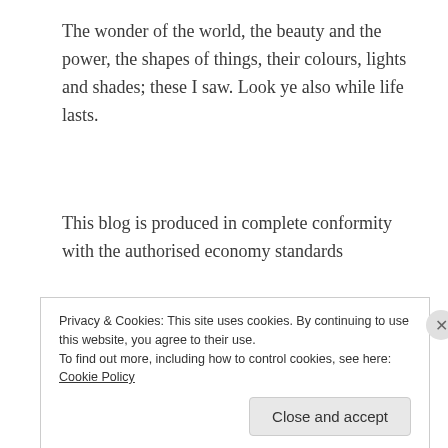The wonder of the world, the beauty and the power, the shapes of things, their colours, lights and shades; these I saw. Look ye also while life lasts.
This blog is produced in complete conformity with the authorised economy standards
FOLLOW BLOG VIA EMAIL
Enter your email address to follow this blog and receive notifications of new posts by email.
Privacy & Cookies: This site uses cookies. By continuing to use this website, you agree to their use. To find out more, including how to control cookies, see here: Cookie Policy
Close and accept